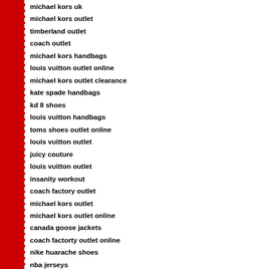michael kors uk
michael kors outlet
timberland outlet
coach outlet
michael kors handbags
louis vuitton outlet online
michael kors outlet clearance
kate spade handbags
kd 8 shoes
louis vuitton handbags
toms shoes outlet online
louis vuitton outlet
juicy couture
louis vuitton outlet
insanity workout
coach factory outlet
michael kors outlet
michael kors outlet online
canada goose jackets
coach factorty outlet online
nike huarache shoes
nba jerseys
air huarache
ray ban sunglasses
air jordans
nike air force 1
replica watches
louboutin pas cher
nike trainers uk
michael kors outlet online
mont blanc
air jordan 13
burberry outlet
polo ralph kids
toms shoes
air jordans
louis vuitton
nike roshe run women